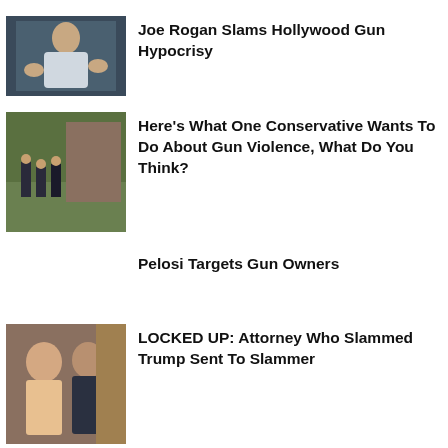[Figure (photo): Man in white shirt gesturing with hands, dark background]
Joe Rogan Slams Hollywood Gun Hypocrisy
[Figure (photo): Police officers on grass outside brick building]
Here's What One Conservative Wants To Do About Gun Violence, What Do You Think?
Pelosi Targets Gun Owners
[Figure (photo): Two people facing each other in close-up, outdoors]
LOCKED UP: Attorney Who Slammed Trump Sent To Slammer
[Figure (photo): Dark-toned portrait, partial view]
Lawmakers Say This Democrat Icon In